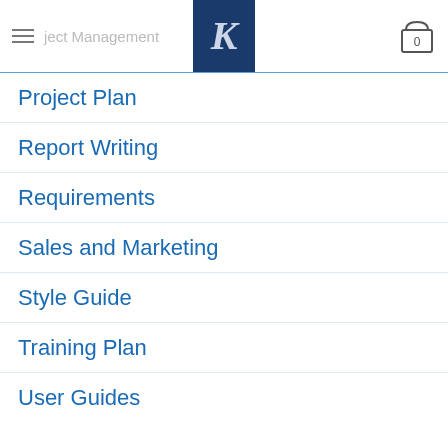Project Management (header nav bar with K logo and cart)
Project Plan
Report Writing
Requirements
Sales and Marketing
Style Guide
Training Plan
User Guides
Web Writing
White Papers